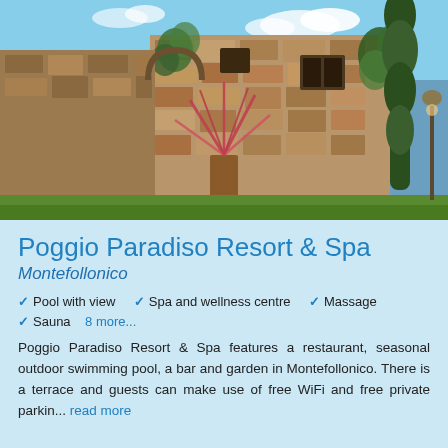[Figure (photo): Exterior photo of Poggio Paradiso Resort & Spa showing a rustic stone building with ivy, a tall cypress tree, decorative plants in a copper planter, and the hotel sign with a logo on the left.]
Poggio Paradiso Resort & Spa
Montefollonico
Pool with view
Spa and wellness centre
Massage
Sauna  8 more...
Poggio Paradiso Resort & Spa features a restaurant, seasonal outdoor swimming pool, a bar and garden in Montefollonico. There is a terrace and guests can make use of free WiFi and free private parkin... read more